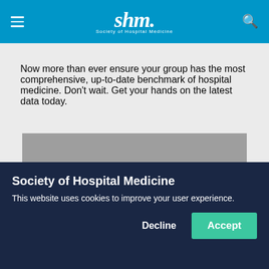shm. Society of Hospital Medicine
Now more than ever ensure your group has the most comprehensive, up-to-date benchmark of hospital medicine. Don't wait. Get your hands on the latest data today.
[Figure (photo): Gray placeholder image block representing a photo or video thumbnail]
Cookie Policy
Society of Hospital Medicine
This website uses cookies to improve your user experience.
Decline  Accept